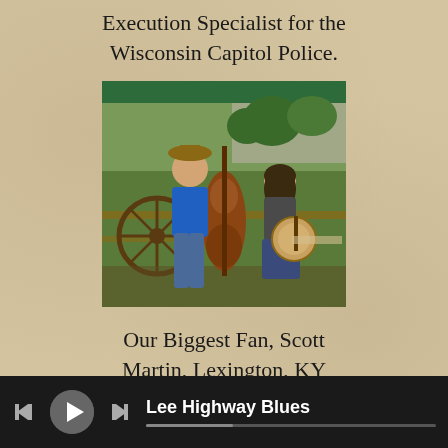Execution Specialist for the Wisconsin Capitol Police.
[Figure (photo): Two people posing outdoors under a green-roofed pavilion. Left: man in blue t-shirt and cowboy hat leaning on a large upright bass. Right: woman sitting with a banjo. Wooden wagon wheel visible in background, trees and parking area behind.]
Our Biggest Fan, Scott Martin, Lexington, KY
Lee Highway Blues